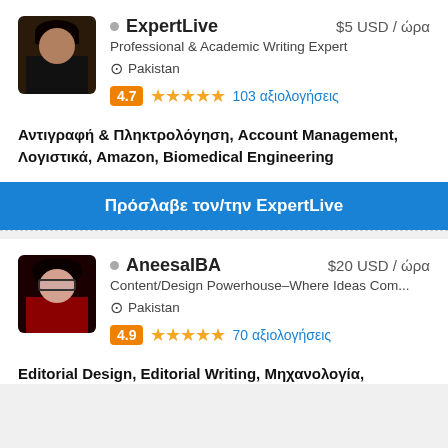[Figure (photo): Profile photo of ExpertLive, a person with dark hair against dark background]
ExpertLive   $5 USD / ώρα
Professional & Academic Writing Expert
Pakistan
4.7  ★★★★★  103 αξιολογήσεις
Αντιγραφή & Πληκτρολόγηση, Account Management, Λογιστικά, Amazon, Biomedical Engineering
Πρόσλαβε τον/την ExpertLive
[Figure (photo): Profile photo of AneesaIBA, a person with glasses and dark hair against red background]
AneesaIBA   $20 USD / ώρα
Content/Design Powerhouse–Where Ideas Com...
Pakistan
4.9  ★★★★★  70 αξιολογήσεις
Editorial Design, Editorial Writing, Μηχανολογία,